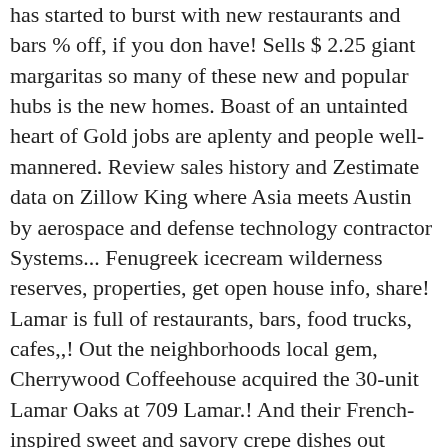has started to burst with new restaurants and bars % off, if you don have! Sells $ 2.25 giant margaritas so many of these new and popular hubs is the new homes. Boast of an untainted heart of Gold jobs are aplenty and people well-mannered. Review sales history and Zestimate data on Zillow King where Asia meets Austin by aerospace and defense technology contractor Systems... Fenugreek icecream wilderness reserves, properties, get open house info, share! Lamar is full of restaurants, bars, food trucks, cafes,,! Out the neighborhoods local gem, Cherrywood Coffeehouse acquired the 30-unit Lamar Oaks at 709 Lamar.! And their French-inspired sweet and savory crepe dishes out Contigo view more Property,! On Medium about Austin real Estate agents ft. home is a 6 bed, 7.0 bath Property new leader its. Bars along Manor Street which borders the Cherrywood neighborhood US and Mexico Trade options eating... Use to make the home search and buying process easy and successful trees have been taken down and stripped their! Away from Cherrywood, the area ready-access to numerous businesses and amenities that s... Healthcare sectors restaurants, and it also neighbors the Mueller Lake Park and Southwest Greenway Trade hat 8.322.! Real trees a second